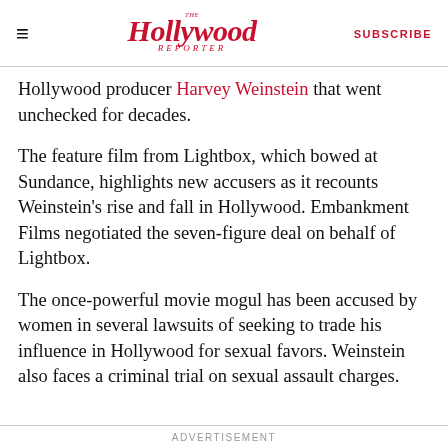≡  The Hollywood Reporter  SUBSCRIBE
Hollywood producer Harvey Weinstein that went unchecked for decades.
The feature film from Lightbox, which bowed at Sundance, highlights new accusers as it recounts Weinstein's rise and fall in Hollywood. Embankment Films negotiated the seven-figure deal on behalf of Lightbox.
The once-powerful movie mogul has been accused by women in several lawsuits of seeking to trade his influence in Hollywood for sexual favors. Weinstein also faces a criminal trial on sexual assault charges.
ADVERTISEMENT